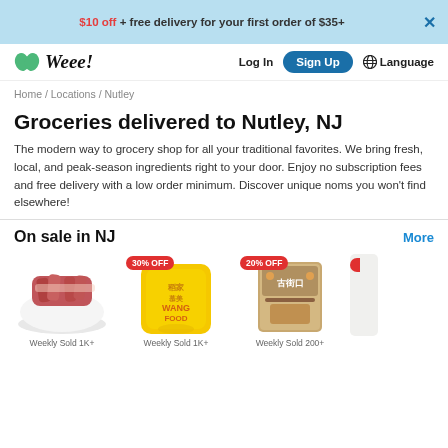$10 off + free delivery for your first order of $35+
[Figure (logo): Weee! grocery delivery logo with green leaf icon]
Log In
Sign Up
Language
Home / Locations / Nutley
Groceries delivered to Nutley, NJ
The modern way to grocery shop for all your traditional favorites. We bring fresh, local, and peak-season ingredients right to your door. Enjoy no subscription fees and free delivery with a low order minimum. Discover unique noms you won't find elsewhere!
On sale in NJ
More
[Figure (photo): Meat (beef short ribs) on a white plate, Weekly Sold 1K+]
[Figure (photo): Yellow bag of WANG FOOD product with 30% OFF badge, Weekly Sold 1K+]
[Figure (photo): Traditional Chinese snack package with 20% OFF badge, Weekly Sold 200+]
[Figure (photo): Partial product card with red discount badge visible at edge]